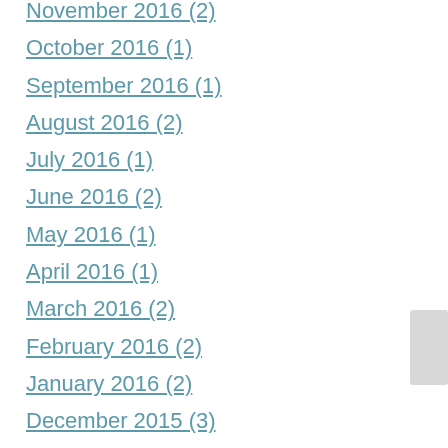November 2016 (2)
October 2016 (1)
September 2016 (1)
August 2016 (2)
July 2016 (1)
June 2016 (2)
May 2016 (1)
April 2016 (1)
March 2016 (2)
February 2016 (2)
January 2016 (2)
December 2015 (3)
November 2015 (2)
October 2015 (2)